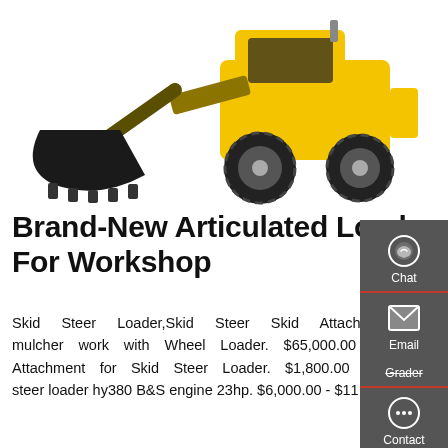[Figure (photo): Yellow articulated wheel loader / construction machinery with front bucket attachment on white background]
Brand-New Articulated Loader For Workshop
Skid Steer Loader,Skid Steer Skid Attachment- Alibaba.com 3 Sets (Min. Order) HCN 0513 Forestry mulcher work with Wheel Loader. $65,000.00 / Set. 1 Set (Min. Order) xuzhou hcn 0309 Grader Attachment for Skid Steer Loader. $1,800.00 / Set. 1 Set (Min. Order) hot sale W720/W720T mini steer loader hy380 B&S engine 23hp. $6,000.00 - $11,000